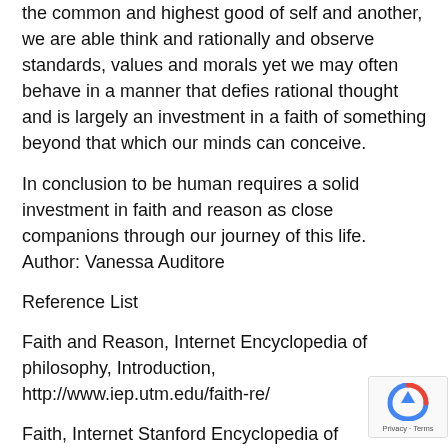the common and highest good of self and another, we are able think and rationally and observe standards, values and morals yet we may often behave in a manner that defies rational thought and is largely an investment in a faith of something beyond that which our minds can conceive.
In conclusion to be human requires a solid investment in faith and reason as close companions through our journey of this life.
Author: Vanessa Auditore
Reference List
Faith and Reason, Internet Encyclopedia of philosophy, Introduction, http://www.iep.utm.edu/faith-re/
Faith, Internet Stanford Encyclopedia of Philos... 2010, Faith as trust,